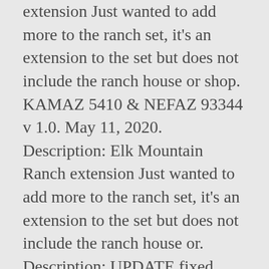extension Just wanted to add more to the ranch set, it's an extension to the set but does not include the ranch house or shop. KAMAZ 5410 & NEFAZ 93344 v 1.0. May 11, 2020. Description: Elk Mountain Ranch extension Just wanted to add more to the ranch set, it's an extension to the set but does not include the ranch house or. Description: UPDATE fixed front door collisions (it is easier to go inside) added collisions to garage doors added a Seasons snow plane added all new indoor and outdoor lights moved indoor light trigger fixed texture errors added a few small details tweaked some textures. The Elk Mountain Ranch experience is a one-week adventure encompassing the best dude ranch experience